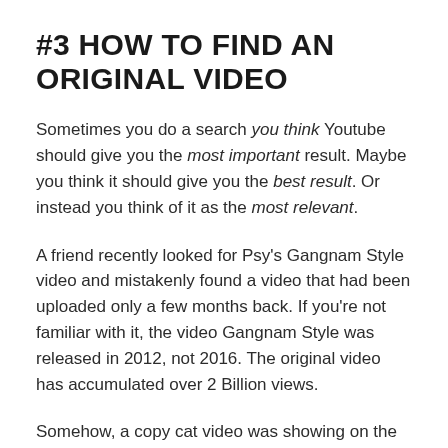#3 HOW TO FIND AN ORIGINAL VIDEO
Sometimes you do a search you think Youtube should give you the most important result. Maybe you think it should give you the best result. Or instead you think of it as the most relevant.
A friend recently looked for Psy's Gangnam Style video and mistakenly found a video that had been uploaded only a few months back. If you're not familiar with it, the video Gangnam Style was released in 2012, not 2016. The original video has accumulated over 2 Billion views.
Somehow, a copy cat video was showing on the